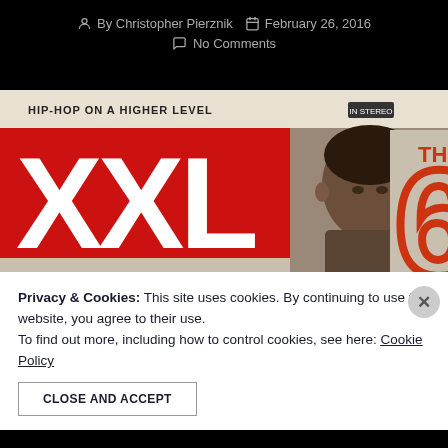By Christopher Pierznik  February 26, 2016  No Comments
[Figure (photo): XXL magazine cover showing a young Black male artist with text 'HIP-HOP ON A HIGHER LEVEL' and XXL logo in red and white, with a large red outlined '6TH' numeral on the right side]
Privacy & Cookies: This site uses cookies. By continuing to use this website, you agree to their use.
To find out more, including how to control cookies, see here: Cookie Policy
CLOSE AND ACCEPT